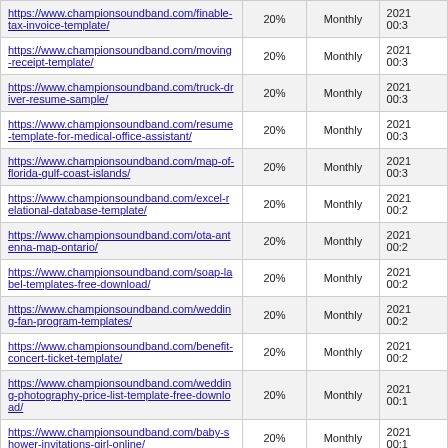| URL | Priority | Change Freq | Last Modified |
| --- | --- | --- | --- |
| https://www.championsoundband.com/finable-tax-invoice-template/ | 20% | Monthly | 2021 00:3 |
| https://www.championsoundband.com/moving-receipt-template/ | 20% | Monthly | 2021 00:3 |
| https://www.championsoundband.com/truck-driver-resume-sample/ | 20% | Monthly | 2021 00:3 |
| https://www.championsoundband.com/resume-template-for-medical-office-assistant/ | 20% | Monthly | 2021 00:3 |
| https://www.championsoundband.com/map-of-florida-gulf-coast-islands/ | 20% | Monthly | 2021 00:3 |
| https://www.championsoundband.com/excel-relational-database-template/ | 20% | Monthly | 2021 00:2 |
| https://www.championsoundband.com/ota-antenna-map-ontario/ | 20% | Monthly | 2021 00:2 |
| https://www.championsoundband.com/soap-label-templates-free-download/ | 20% | Monthly | 2021 00:2 |
| https://www.championsoundband.com/wedding-fan-program-templates/ | 20% | Monthly | 2021 00:2 |
| https://www.championsoundband.com/benefit-concert-ticket-template/ | 20% | Monthly | 2021 00:2 |
| https://www.championsoundband.com/wedding-photography-price-list-template-free-download/ | 20% | Monthly | 2021 00:1 |
| https://www.championsoundband.com/baby-shower-invitations-girl-online/ | 20% | Monthly | 2021 00:1 |
| https://www.championsoundband.com/lollipop-invitation-template-free/ | 20% | Monthly | 2021 00:1 |